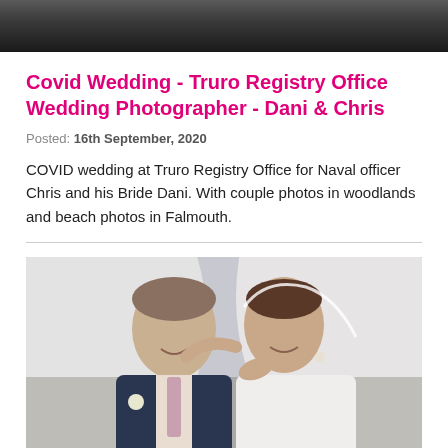[Figure (photo): Top portion of a wedding photo showing a couple at a formal event, cropped at top of page]
Covid Wedding - Truro Registry Office Wedding Photographer - Dani & Chris
Posted: 16th September, 2020
COVID wedding at Truro Registry Office for Naval officer Chris and his Bride Dani. With couple photos in woodlands and beach photos in Falmouth.
[Figure (photo): Wedding couple portrait — groom in navy suit with pink tie holding bride's chin, bride in white gown with veil billowing behind, both smiling at each other]